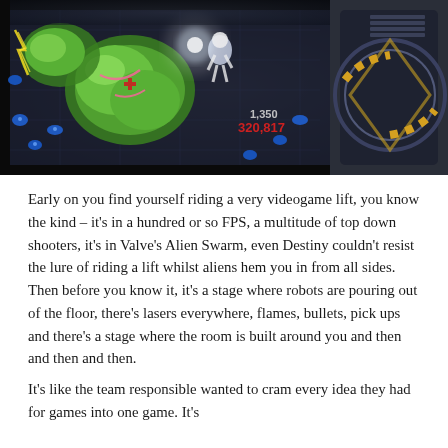[Figure (screenshot): Top-down shooter videogame screenshot showing colorful alien creatures, neon effects including yellow lightning, pink and blue glowing aliens, green enemies, on a dark sci-fi floor. Score display shows '1,350' and '320,817' in red text in the center of the image.]
Early on you find yourself riding a very videogame lift, you know the kind – it's in a hundred or so FPS, a multitude of top down shooters, it's in Valve's Alien Swarm, even Destiny couldn't resist the lure of riding a lift whilst aliens hem you in from all sides. Then before you know it, it's a stage where robots are pouring out of the floor, there's lasers everywhere, flames, bullets, pick ups and there's a stage where the room is built around you and then and then and then.
It's like the team responsible wanted to cram every idea they had for games into one game. It's